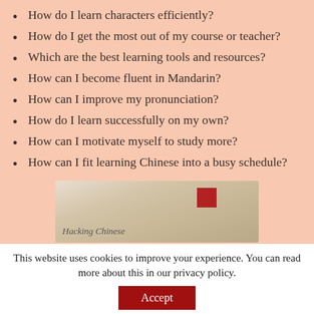How do I learn characters efficiently?
How do I get the most out of my course or teacher?
Which are the best learning tools and resources?
How can I become fluent in Mandarin?
How can I improve my pronunciation?
How do I learn successfully on my own?
How can I motivate myself to study more?
How can I fit learning Chinese into a busy schedule?
[Figure (photo): Photo of Hacking Chinese document/booklet on a wooden surface with a red stamp seal]
This website uses cookies to improve your experience. You can read more about this in our privacy policy.
Accept
Read more...